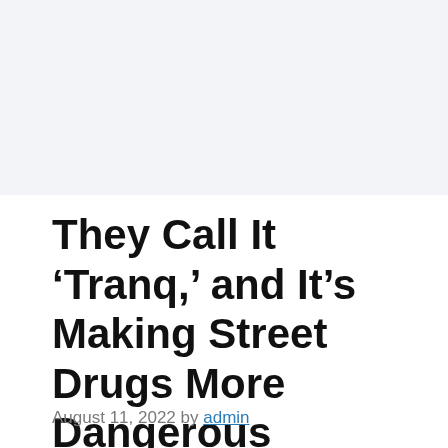They Call It ‘Tranq,’ and It’s Making Street Drugs More Dangerous
August 11, 2022 by admin